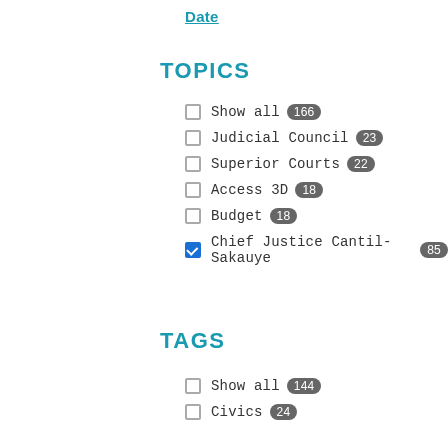Date ▲
TOPICS
Show all 166
Judicial Council 23
Superior Courts 22
Access 3D 18
Budget 18
Chief Justice Cantil-Sakauye 85
TAGS
Show all 144
Civics 24